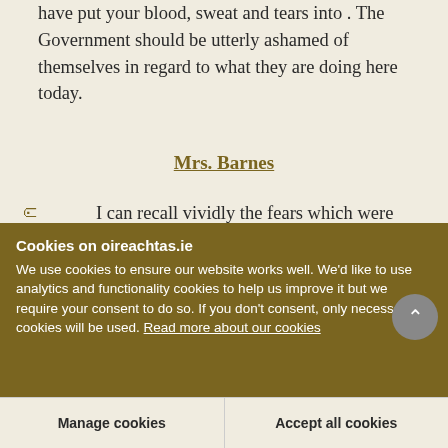have put your blood, sweat and tears into . The Government should be utterly ashamed of themselves in regard to what they are doing here today.
Mrs. Barnes
I can recall vividly the fears which were spread throughout the land during the divorce referendum campaign. One Member of this House
Cookies on oireachtas.ie
We use cookies to ensure our website works well. We'd like to use analytics and functionality cookies to help us improve it but we require your consent to do so. If you don't consent, only necessary cookies will be used. Read more about our cookies
Manage cookies
Accept all cookies